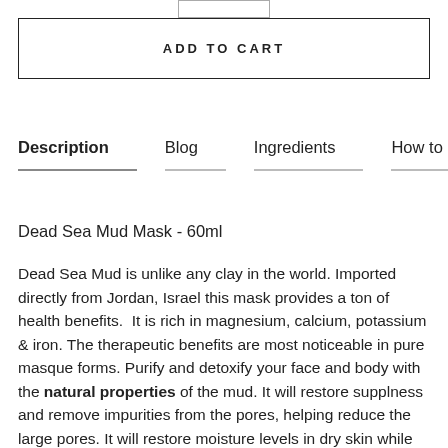[Figure (screenshot): Partial quantity selector widget with border visible at top of page]
ADD TO CART
Description   Blog   Ingredients   How to use
Dead Sea Mud Mask - 60ml
Dead Sea Mud is unlike any clay in the world. Imported directly from Jordan, Israel this mask provides a ton of health benefits. It is rich in magnesium, calcium, potassium & iron. The therapeutic benefits are most noticeable in pure masque forms. Purify and detoxify your face and body with the natural properties of the mud. It will restore supplness and remove impurities from the pores, helping reduce the large pores. It will restore moisture levels in dry skin while relieving and soothing symptoms such as acne. Exfoliate naturally with this mask and feel how after your